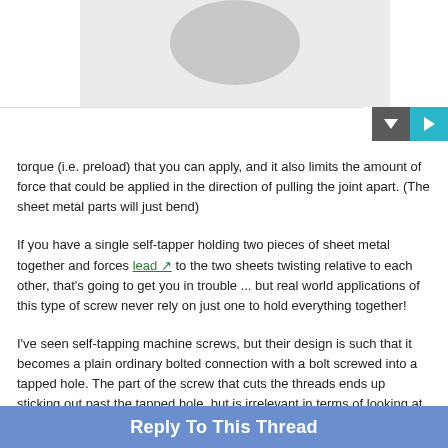[Figure (photo): Partial avatar/profile image placeholder with grey circle at top, white and grey background]
torque (i.e. preload) that you can apply, and it also limits the amount of force that could be applied in the direction of pulling the joint apart. (The sheet metal parts will just bend)
If you have a single self-tapper holding two pieces of sheet metal together and forces lead to the two sheets twisting relative to each other, that's going to get you in trouble ... but real world applications of this type of screw never rely on just one to hold everything together!
I've seen self-tapping machine screws, but their design is such that it becomes a plain ordinary bolted connection with a bolt screwed into a tapped hole. The part of the screw that cuts the threads ends up sticking out past the tapped hole, but is irrelevant in terms of looking at the loading.
Reply To This Thread